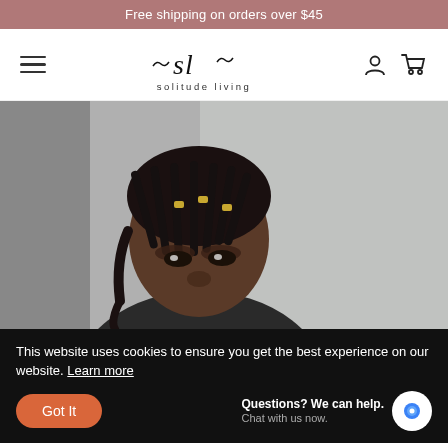Free shipping on orders over $45
[Figure (logo): Solitude Living brand logo with stylized 'sl' script and decorative tildes, with text 'solitude living' below]
[Figure (photo): Close-up photo of a young Black woman with box braids looking slightly downward, against a light grey background]
This website uses cookies to ensure you get the best experience on our website. Learn more
Got It
Questions? We can help. Chat with us now.